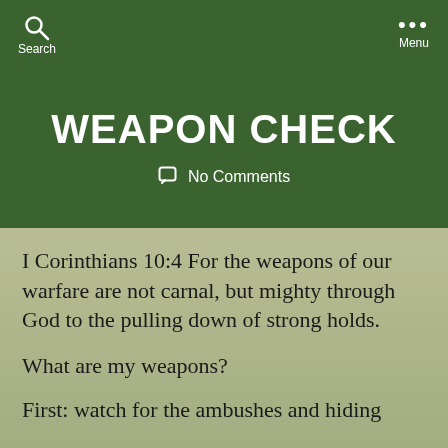Search   Menu
WEAPON CHECK
No Comments
I Corinthians 10:4 For the weapons of our warfare are not carnal, but mighty through God to the pulling down of strong holds.
What are my weapons?
First: watch for the ambushes and hiding